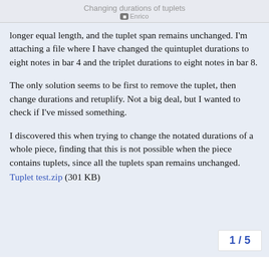Changing durations of tuplets
longer equal length, and the tuplet span remains unchanged. I'm attaching a file where I have changed the quintuplet durations to eight notes in bar 4 and the triplet durations to eight notes in bar 8.
The only solution seems to be first to remove the tuplet, then change durations and retuplify. Not a big deal, but I wanted to check if I've missed something.
I discovered this when trying to change the notated durations of a whole piece, finding that this is not possible when the piece contains tuplets, since all the tuplets span remains unchanged.
Tuplet test.zip (301 KB)
1 / 5